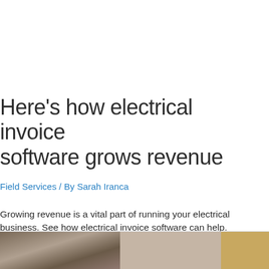Here's how electrical invoice software grows revenue
Field Services / By Sarah Iranca
Growing revenue is a vital part of running your electrical business. See how electrical invoice software can help.
[Figure (photo): Bottom strip showing a partial photograph, appears to be shelves or workshop environment with warm tones]